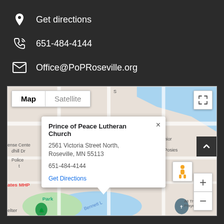Get directions
651-484-4144
Office@PoPRoseville.org
[Figure (map): Google Map showing Prince of Peace Lutheran Church at 2561 Victoria Street North, Roseville, MN 55113 with an info popup card showing the address, phone number 651-484-4144, and a Get Directions link. Map/Satellite toggle buttons visible at top left, fullscreen button at top right, street view pegman icon on right, zoom controls at bottom right.]